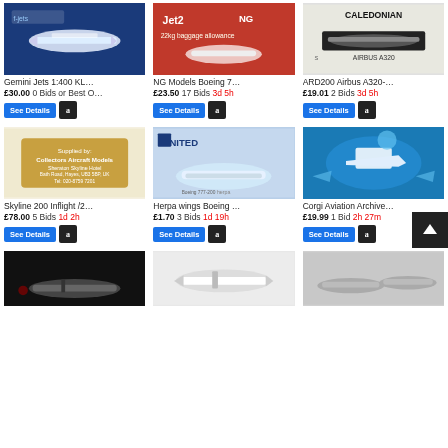[Figure (photo): Gemini Jets 1:400 KLM model airplane box, blue packaging]
Gemini Jets 1:400 KL…
£30.00 0 Bids or Best O…
[Figure (photo): NG Models Boeing 7… red box with Jet2 livery]
NG Models Boeing 7…
£23.50 17 Bids 3d 5h
[Figure (photo): ARD200 Airbus A320 Caledonian model, white box]
ARD200 Airbus A320-…
£19.01 2 Bids 3d 5h
[Figure (photo): Skyline 200 Inflight /2… label box from Collectors Aircraft Models]
Skyline 200 Inflight /2…
£78.00 5 Bids 1d 2h
[Figure (photo): Herpa wings Boeing 777-200 United Airlines model in box]
Herpa wings Boeing …
£1.70 3 Bids 1d 19h
[Figure (photo): Corgi Aviation Archive model airplane pieces in blue tray]
Corgi Aviation Archive…
£19.99 1 Bid 2h 27m
[Figure (photo): Dark background airplane model photo]
[Figure (photo): White airplane model on light background]
[Figure (photo): Gray background with multiple airplane models]